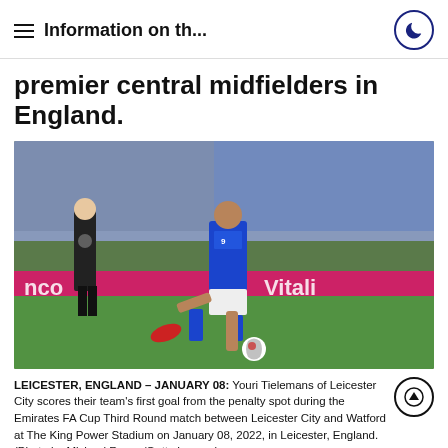Information on th...
premier central midfielders in England.
[Figure (photo): Youri Tielemans of Leicester City in a blue kit kicking a football during a match, with a referee in black standing behind him and a crowd in the background. Advertising boards including 'Vitali' visible in background.]
LEICESTER, ENGLAND – JANUARY 08: Youri Tielemans of Leicester City scores their team's first goal from the penalty spot during the Emirates FA Cup Third Round match between Leicester City and Watford at The King Power Stadium on January 08, 2022, in Leicester, England. (Photo by Michael Regan/Getty Images)